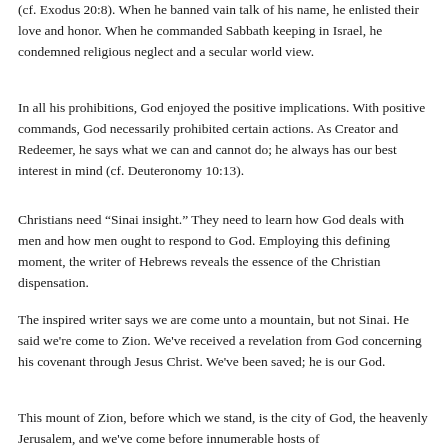(cf. Exodus 20:8). When he banned vain talk of his name, he enlisted their love and honor. When he commanded Sabbath keeping in Israel, he condemned religious neglect and a secular world view.
In all his prohibitions, God enjoyed the positive implications. With positive commands, God necessarily prohibited certain actions. As Creator and Redeemer, he says what we can and cannot do; he always has our best interest in mind (cf. Deuteronomy 10:13).
Christians need “Sinai insight.” They need to learn how God deals with men and how men ought to respond to God. Employing this defining moment, the writer of Hebrews reveals the essence of the Christian dispensation.
The inspired writer says we are come unto a mountain, but not Sinai. He said we're come to Zion. We've received a revelation from God concerning his covenant through Jesus Christ. We've been saved; he is our God.
This mount of Zion, before which we stand, is the city of God, the heavenly Jerusalem, and we've come before innumerable hosts of